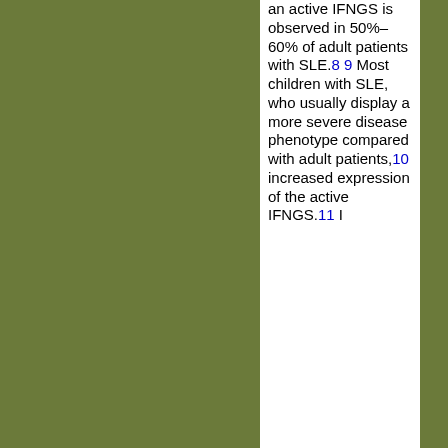an active IFNGS is observed in 50%–60% of adult patients with SLE.8 9 Most children with SLE, who usually display a more severe disease phenotype compared with adult patients,10 increased expression of the active IFNGS.11 I